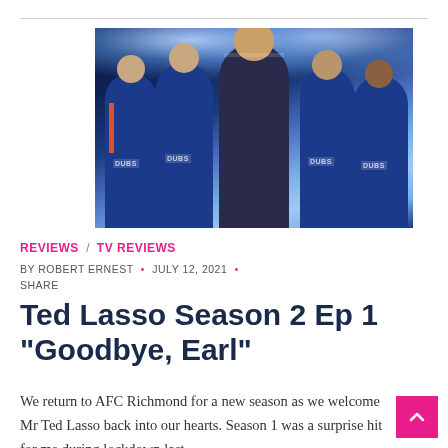[Figure (photo): Promotional photo for Ted Lasso Season 2 showing the main character in a suit with arms crossed surrounded by four football players in blue AFC Richmond kits, with a stadium and bright lights in the background.]
REVIEWS / TV REVIEWS
BY ROBERT ERNEST • JULY 12, 2021 • SHARE
Ted Lasso Season 2 Ep 1 “Goodbye, Earl”
We return to AFC Richmond for a new season as we welcome Mr Ted Lasso back into our hearts. Season 1 was a surprise hit for me during lockdown last